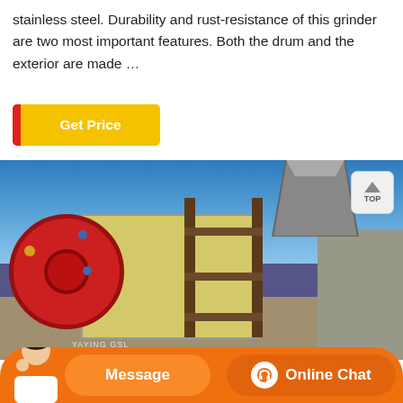stainless steel. Durability and rust-resistance of this grinder are two most important features. Both the drum and the exterior are made …
[Figure (illustration): Orange 'Get Price' button with red left bar on yellow background]
[Figure (photo): Industrial jaw crusher machine photographed outdoors against blue sky, showing large red flywheel on the left, yellow machine body with steel frame tower, and a hopper at the top right. Stone wall visible on the right. Text watermark near bottom.]
[Figure (infographic): Bottom navigation bar with orange background, showing female customer service avatar on the left, 'Message' button in the center-left, and 'Online Chat' button with headset icon on the right]